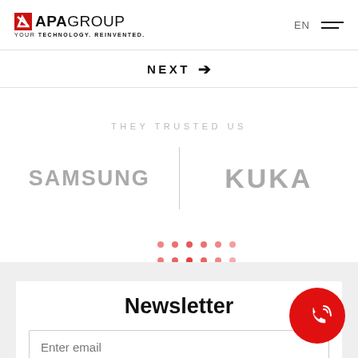[Figure (logo): APA Group logo with red slash icon and tagline YOUR TECHNOLOGY. REINVENTED.]
EN
NEXT →
THEY TRUSTED US
[Figure (logo): Samsung wordmark in gray]
[Figure (logo): KUKA wordmark in gray]
Newsletter
Enter email